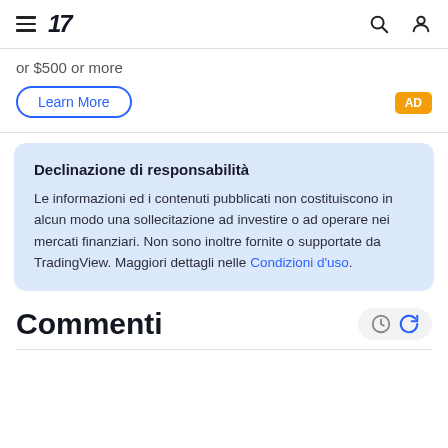TradingView navigation header with hamburger menu, logo (17), search icon, and user icon
or $500 or more
Learn More
AD
Declinazione di responsabilità
Le informazioni ed i contenuti pubblicati non costituiscono in alcun modo una sollecitazione ad investire o ad operare nei mercati finanziari. Non sono inoltre fornite o supportate da TradingView. Maggiori dettagli nelle Condizioni d'uso.
Commenti